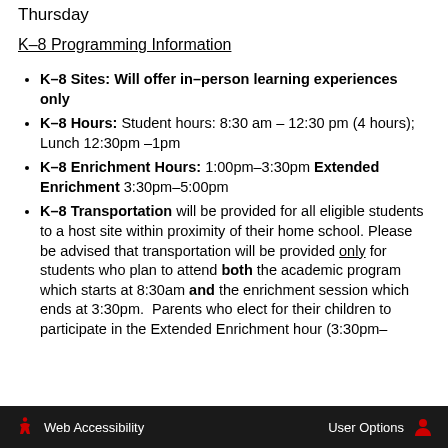Thursday
K–8 Programming Information
K-8 Sites: Will offer in-person learning experiences only
K-8 Hours: Student hours: 8:30 am – 12:30 pm (4 hours); Lunch 12:30pm –1pm
K-8 Enrichment Hours: 1:00pm–3:30pm Extended Enrichment 3:30pm–5:00pm
K-8 Transportation will be provided for all eligible students to a host site within proximity of their home school. Please be advised that transportation will be provided only for students who plan to attend both the academic program which starts at 8:30am and the enrichment session which ends at 3:30pm. Parents who elect for their children to participate in the Extended Enrichment hour (3:30pm–
Web Accessibility   User Options